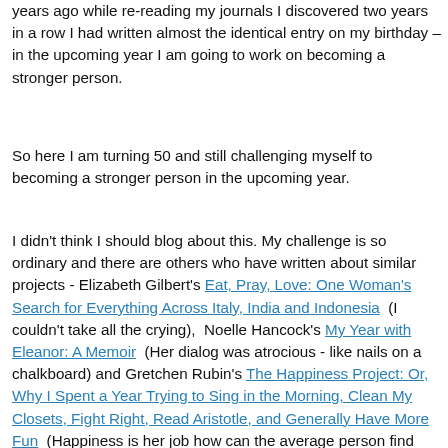years ago while re-reading my journals I discovered two years in a row I had written almost the identical entry on my birthday – in the upcoming year I am going to work on becoming a stronger person.
So here I am turning 50 and still challenging myself to becoming a stronger person in the upcoming year.
I didn't think I should blog about this. My challenge is so ordinary and there are others who have written about similar projects - Elizabeth Gilbert's Eat, Pray, Love: One Woman's Search for Everything Across Italy, India and Indonesia (I couldn't take all the crying), Noelle Hancock's My Year with Eleanor: A Memoir (Her dialog was atrocious - like nails on a chalkboard) and Gretchen Rubin's The Happiness Project: Or, Why I Spent a Year Trying to Sing in the Morning, Clean My Closets, Fight Right, Read Aristotle, and Generally Have More Fun (Happiness is her job how can the average person find time for this). Then I came across Danielle LaPorte's post "The Biggest Threat to Your Creativity" where she writes: